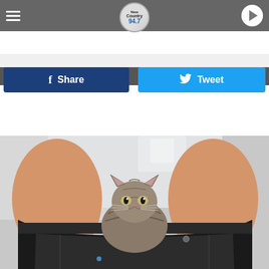[Figure (screenshot): Radio station website header for New Country 94.7 WNAW with hamburger menu, logo, and play button]
LISTEN LIVE ▶  WNAW
f  Share
Tweet
SAVED MY LIFE
YOU MAY LIKE
SPONSORED LINKS
[Figure (photo): A tabby cat sitting inside a person's pants pulled down around their ankles in a bathroom setting]